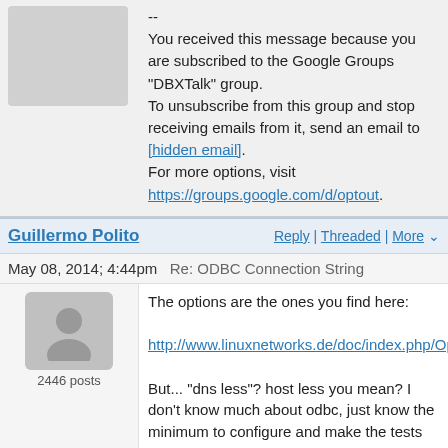--
You received this message because you are subscribed to the Google Groups "DBXTalk" group.
To unsubscribe from this group and stop receiving emails from it, send an email to [hidden email].
For more options, visit https://groups.google.com/d/optout.
Guillermo Polito
Reply | Threaded | More
May 08, 2014; 4:44pm   Re: ODBC Connection String
2446 posts
The options are the ones you find here:

http://www.linuxnetworks.de/doc/index.php/OpenDBX/Cor

But... "dns less"? host less you mean? I don't know much about odbc, just know the minimum to configure and make the tests run :).

Guille


On Wed, May 7, 2014 at 3:18 PM, Mariano Martinez Peck <[hidden email]> wrote:
I don't remember. Maybe here is some help: http://forum.world.st/Coming-here-from-the-Pharo-mailing-list-td4641683.html  ?